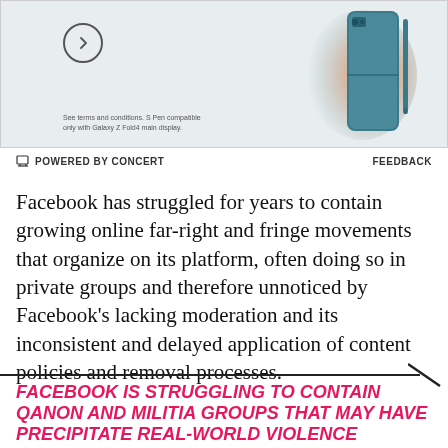[Figure (photo): Advertisement banner showing a Samsung Galaxy Z Fold4 phone with S Pen, teal/green color, with a circular arrow button and fine print text about terms and conditions.]
POWERED BY CONCERT   FEEDBACK
Facebook has struggled for years to contain growing online far-right and fringe movements that organize on its platform, often doing so in private groups and therefore unnoticed by Facebook’s lacking moderation and its inconsistent and delayed application of content policies and removal processes.
FACEBOOK IS STRUGGLING TO CONTAIN QANON AND MILITIA GROUPS THAT MAY HAVE PRECIPITATE REAL-WORLD VIOLENCE